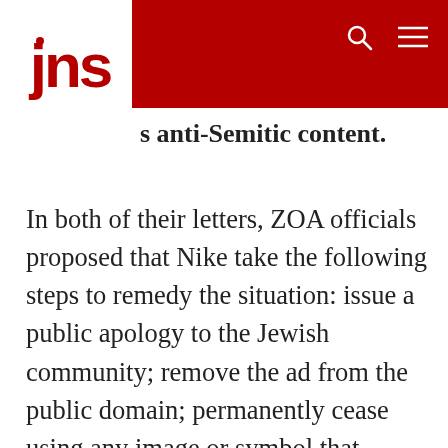jns
s anti-Semitic content.
In both of their letters, ZOA officials proposed that Nike take the following steps to remedy the situation: issue a public apology to the Jewish community; remove the ad from the public domain; permanently cease using any image or symbol that resembles the Star of David or any other Jewish symbol; implement organizational changes in its design department to tighten scrutiny of logo designs; investigate how an image of the Star of David came to be used; and issue a public statement that delineates “all the